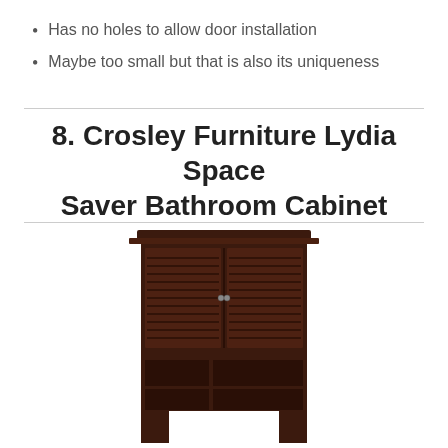Has no holes to allow door installation
Maybe too small but that is also its uniqueness
8. Crosley Furniture Lydia Space Saver Bathroom Cabinet
[Figure (photo): Dark espresso/brown over-toilet bathroom space saver cabinet with louvered doors on top section and open shelves on bottom, showing two side legs that straddle a toilet.]